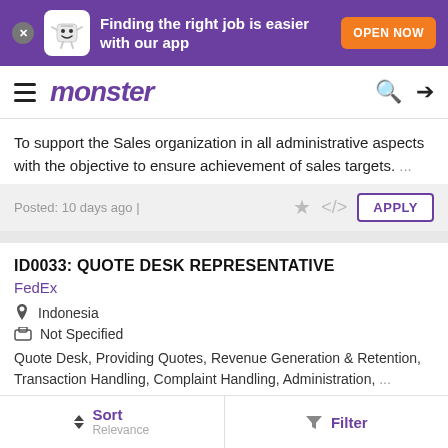[Figure (screenshot): Purple app banner with Monster mascot, text 'Finding the right job is easier with our app', and orange 'OPEN NOW' button]
monster
To support the Sales organization in all administrative aspects with the objective to ensure achievement of sales targets. ...
Posted: 10 days ago |
ID0033: QUOTE DESK REPRESENTATIVE
FedEx
Indonesia
Not Specified
Quote Desk, Providing Quotes, Revenue Generation & Retention, Transaction Handling, Complaint Handling, Administration, ...
Sort Relevance | Filter